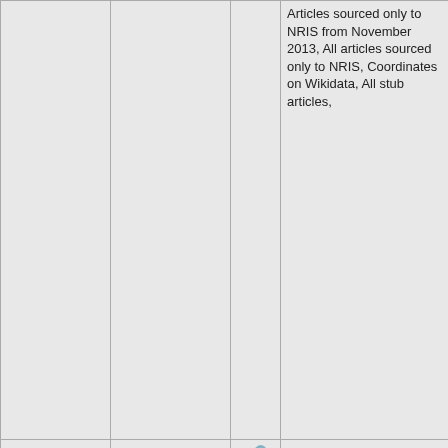| #/Distance | Name | Link | Categories | Image |
| --- | --- | --- | --- | --- |
|  |  |  | Articles sourced only to NRIS from November 2013, All articles sourced only to NRIS, Coordinates on Wikidata, All stub articles, |  |
| 68: 13.4mi | Thomas Hall (Gainesville, Florida) | 🔗 | National Register of Historic Places in Alachua County, Florida, Buildings at the University of Florida, William Augustus Edwards buildings, North Central Florida Registered Historic Place stubs, Hidden... | [photo of Thomas Hall] |